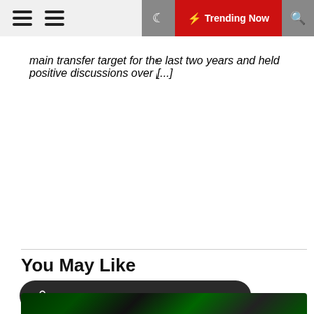⚡ Trending Now
main transfer target for the last two years and held positive discussions over [...]
You May Like
Click Here To Make Advert Enquiry